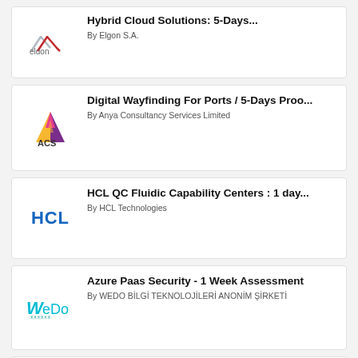[Figure (logo): Elgon S.A. logo with mountain/chevron icon and 'elgon' text]
Hybrid Cloud Solutions: 5-Days...
By Elgon S.A.
[Figure (logo): ACS logo - colorful triangle with yellow, purple, pink and 'ACS' text below]
Digital Wayfinding For Ports / 5-Days Proo...
By Anya Consultancy Services Limited
[Figure (logo): HCL Technologies logo in blue bold letters]
HCL QC Fluidic Capability Centers : 1 day...
By HCL Technologies
[Figure (logo): WeDo logo in teal/cyan stylized text]
Azure Paas Security - 1 Week Assessment
By WEDO BİLGİ TEKNOLOJİLERİ ANONİM ŞİRKETİ
░░░░░░░░: 4░░ ░░░░